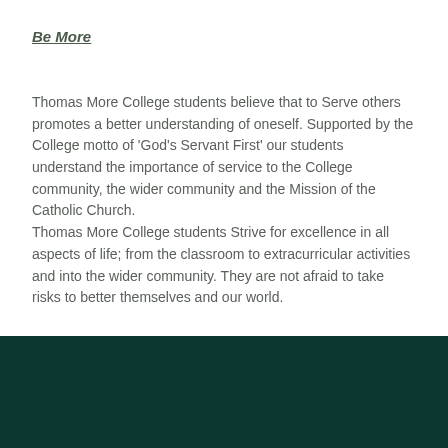Be More
Thomas More College students believe that to Serve others promotes a better understanding of oneself. Supported by the College motto of 'God's Servant First' our students understand the importance of service to the College community, the wider community and the Mission of the Catholic Church.
Thomas More College students Strive for excellence in all aspects of life; from the classroom to extracurricular activities and into the wider community. They are not afraid to take risks to better themselves and our world.
Downlaod a copy of our Student Wellbeing and Vision Statement